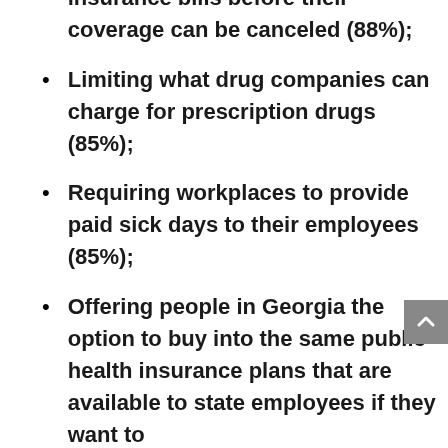insurance bills before their coverage can be canceled (88%);
Limiting what drug companies can charge for prescription drugs (85%);
Requiring workplaces to provide paid sick days to their employees (85%);
Offering people in Georgia the option to buy into the same public health insurance plans that are available to state employees if they want to